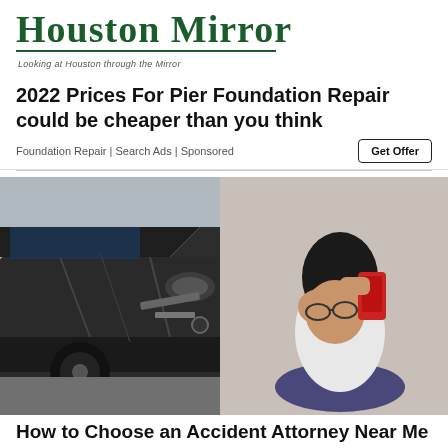Houston Mirror — Looking at Houston through the Mirror
2022 Prices For Pier Foundation Repair could be cheaper than you think
Foundation Repair | Search Ads | Sponsored
[Figure (photo): Photo of a distressed woman sitting beside a heavily damaged car, holding a red phone to her head with hands covering her face]
How to Choose an Accident Attorney Near Me